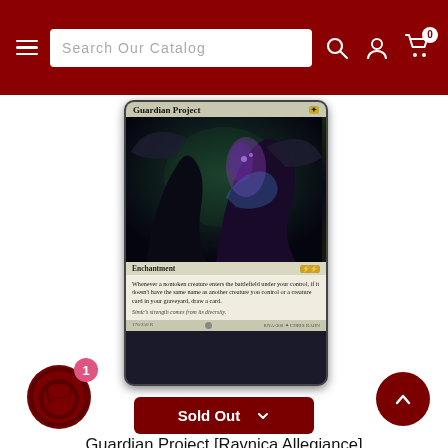Search Our Catalog
[Figure (photo): Magic: The Gathering card - Guardian Project from Ravnica Allegiance. Green enchantment card showing fantasy artwork with creatures. Card text reads: Whenever a nontoken creature enters the battlefield under your control, if it doesn't have the same name as another creature you control or a creature card in your graveyard, draw a card. Flavor text: Simic's strength comes from its diversity.]
Sold Out
Guardian Project [Ravnica Allegiance]
$14.20